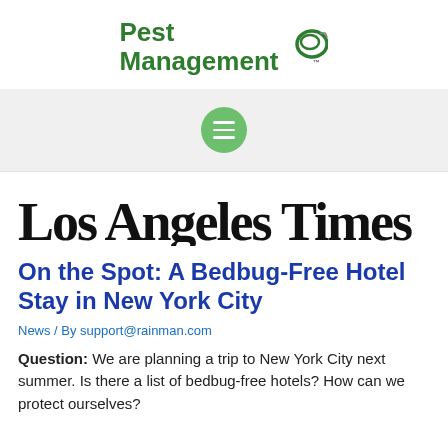[Figure (logo): Pest Management logo with green text and circular icon]
[Figure (logo): Los Angeles Times masthead in blackletter font]
On the Spot: A Bedbug-Free Hotel Stay in New York City
News / By support@rainman.com
Question: We are planning a trip to New York City next summer. Is there a list of bedbug-free hotels? How can we protect ourselves?